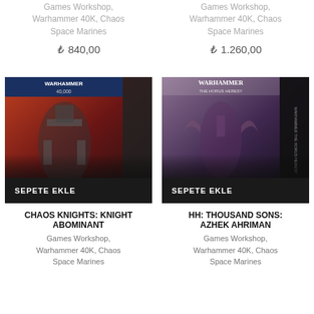Games Workshop, Warhammer 40K, Chaos Space Marines
₺ 840,00
Games Workshop, Warhammer 40K, Chaos Space Marines
₺ 1.260,00
[Figure (photo): Chaos Knights Knight Abominant product box showing a large chaos knight model against a fiery red background, with a black 'SEPETE EKLE' (Add to Cart) button overlay]
[Figure (photo): HH Thousand Sons Azhek Ahriman product box showing a winged figure against a dark purple/grey background, Warhammer The Horus Heresy branding, with a black 'SEPETE EKLE' (Add to Cart) button overlay]
CHAOS KNIGHTS: KNIGHT ABOMINANT
Games Workshop, Warhammer 40K, Chaos Space Marines
HH: THOUSAND SONS: AZHEK AHRIMAN
Games Workshop, Warhammer 40K, Chaos Space Marines